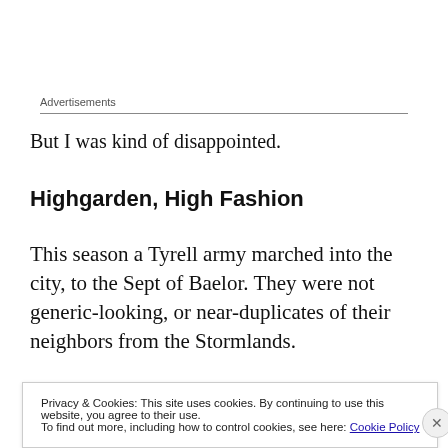Advertisements
But I was kind of disappointed.
Highgarden, High Fashion
This season a Tyrell army marched into the city, to the Sept of Baelor. They were not generic-looking, or near-duplicates of their neighbors from the Stormlands.
Privacy & Cookies: This site uses cookies. By continuing to use this website, you agree to their use.
To find out more, including how to control cookies, see here: Cookie Policy